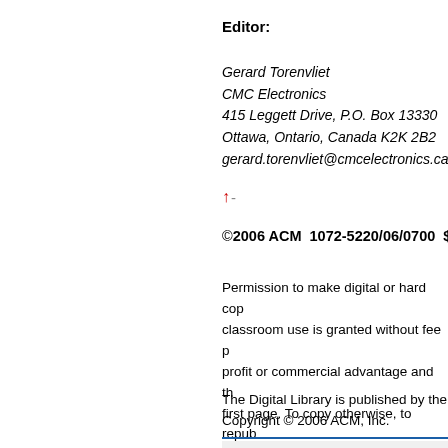Editor:
Gerard Torenvliet
CMC Electronics
415 Leggett Drive, P.O. Box 13330
Ottawa, Ontario, Canada K2K 2B2
gerard.torenvliet@cmcelectronics.ca
↑-
©2006 ACM  1072-5220/06/0700  $5.00
Permission to make digital or hard copy of all or part of this work for personal or classroom use is granted without fee provided that copies are not made or distributed for profit or commercial advantage and that copies bear this notice and the full citation on the first page. To copy otherwise, to republish, to post on servers or to redistribute to lists, requires prior specific permission and/or a fee.
The Digital Library is published by the Association for Computing Machinery. Copyright © 2006 ACM, Inc.